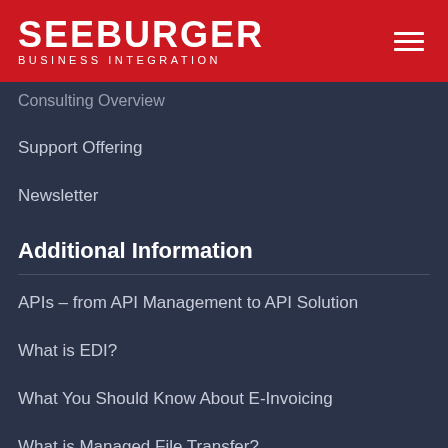SEEBURGER Business Integration
Consulting Overview
Support Offering
Newsletter
Additional Information
APIs – from API Management to API Solution
What is EDI?
What You Should Know About E-Invoicing
What is Managed File Transfer?
Events